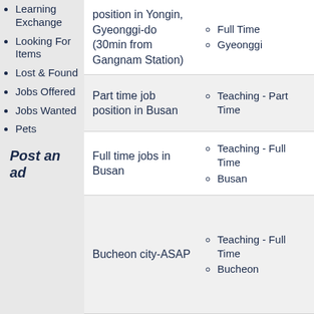Learning Exchange
Looking For Items
Lost & Found
Jobs Offered
Jobs Wanted
Pets
Post an ad
position in Yongin, Gyeonggi-do (30min from Gangnam Station)
Full Time
Gyeonggi
Part time job position in Busan
Teaching - Part Time
Full time jobs in Busan
Teaching - Full Time
Busan
Bucheon city-ASAP
Teaching - Full Time
Bucheon